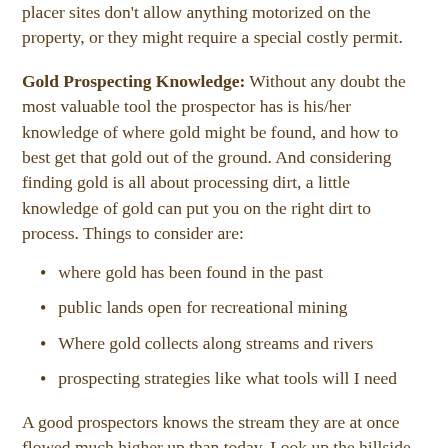placer sites don't allow anything motorized on the property, or they might require a special costly permit.
Gold Prospecting Knowledge: Without any doubt the most valuable tool the prospector has is his/her knowledge of where gold might be found, and how to best get that gold out of the ground. And considering finding gold is all about processing dirt, a little knowledge of gold can put you on the right dirt to process. Things to consider are:
where gold has been found in the past
public lands open for recreational mining
Where gold collects along streams and rivers
prospecting strategies like what tools will I need
A good prospectors knows the stream they are at once flowed much higher up than today. Look up the hillside to see if there is a big rock that might have once captured gold when the stream was higher. Gold will collect on the down-stream side of big rocks so the greatest amount of gold might be a few yards up the hill on the down-stream